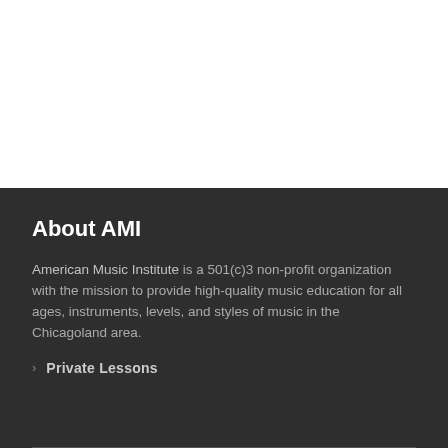About AMI
American Music Institute is a 501(c)3 non-profit organization with the mission to provide high-quality music education for all ages, instruments, levels, and styles of music in the Chicagoland area.
Private Lessons